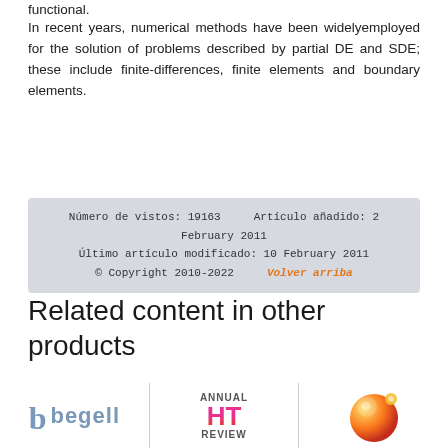functional.
In recent years, numerical methods have been widelyemployed for the solution of problems described by partial DE and SDE; these include finite-differences, finite elements and boundary elements.
Número de vistos: 19163    Artículo añadido: 2 February 2011
Último artículo modificado: 10 February 2011
© Copyright 2010-2022    Volver arriba
Related content in other products
[Figure (logo): Begell House publisher logo with stylized 'b' and 'begell' text in blue-grey]
[Figure (logo): Annual HT Review logo with large pink/red HT letters]
[Figure (logo): Circular colorful publisher logo with orange and red sphere]